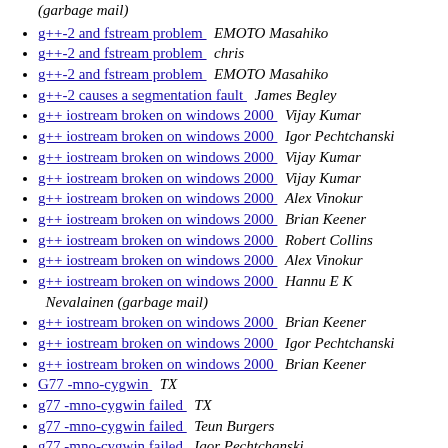g++-2 and fstream problem  EMOTO Masahiko
g++-2 and fstream problem  chris
g++-2 and fstream problem  EMOTO Masahiko
g++-2 causes a segmentation fault  James Begley
g++ iostream broken on windows 2000  Vijay Kumar
g++ iostream broken on windows 2000  Igor Pechtchanski
g++ iostream broken on windows 2000  Vijay Kumar
g++ iostream broken on windows 2000  Vijay Kumar
g++ iostream broken on windows 2000  Alex Vinokur
g++ iostream broken on windows 2000  Brian Keener
g++ iostream broken on windows 2000  Robert Collins
g++ iostream broken on windows 2000  Alex Vinokur
g++ iostream broken on windows 2000  Hannu E K Nevalainen (garbage mail)
g++ iostream broken on windows 2000  Brian Keener
g++ iostream broken on windows 2000  Igor Pechtchanski
g++ iostream broken on windows 2000  Brian Keener
G77 -mno-cygwin  TX
g77 -mno-cygwin failed  TX
g77 -mno-cygwin failed  Teun Burgers
g77 -mno-cygwin failed  Igor Pechtanski
g77 -mno-cygwin failed  Roman Belenov
g77 -mno-cygwin failed  Gerrit P. Haase
g77 -mno-cygwin failed  Teun Burgers